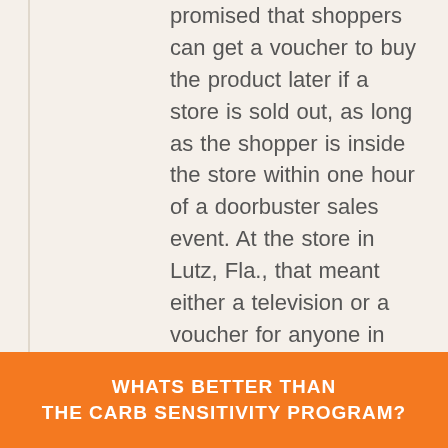promised that shoppers can get a voucher to buy the product later if a store is sold out, as long as the shopper is inside the store within one hour of a doorbuster sales event. At the store in Lutz, Fla., that meant either a television or a voucher for anyone in line before 7 p.m. Thursday. Customers told Bay News 9 that by 7:15 p.m., they were told that all the televisions — and vouchers — were gone. Pasco County Sheriff's deputies who were already working at the store were asked for assistance. The crowd
WHATS BETTER THAN THE CARB SENSITIVITY PROGRAM?